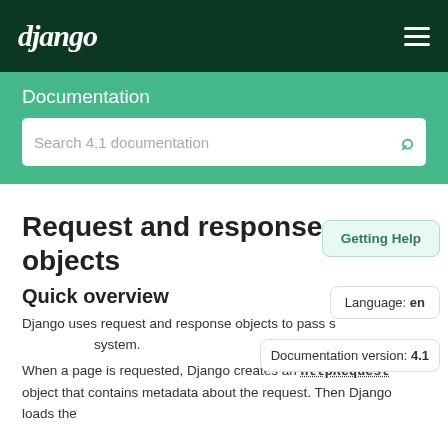django
Documentation
Search 4.1 documentation
Request and response objects
Quick overview
Getting Help
Language: en
Documentation version: 4.1
Django uses request and response objects to pass state through the system.
When a page is requested, Django creates an HttpRequest object that contains metadata about the request. Then Django loads the